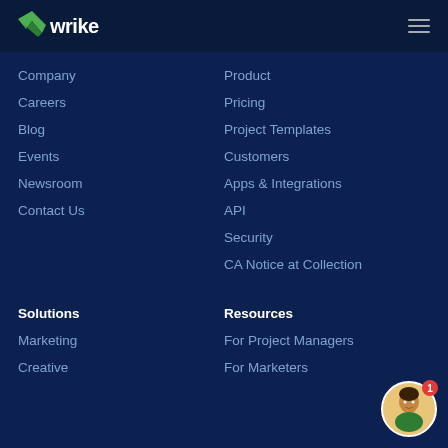[Figure (logo): Wrike logo with green checkmark and white text on dark navy header]
Company
Product
Careers
Pricing
Blog
Project Templates
Events
Customers
Newsroom
Apps & Integrations
Contact Us
API
Security
CA Notice at Collection
Solutions
Resources
Marketing
For Project Managers
Creative
For Marketers